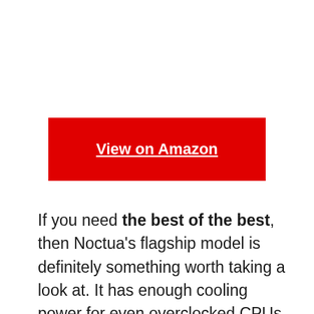[Figure (other): Empty white space at top of page, likely a product image placeholder]
View on Amazon
If you need the best of the best, then Noctua's flagship model is definitely something worth taking a look at. It has enough cooling power for even overclocked CPUs and won't break your budget! Better yet, it comes with two NF-A15 PWM fans